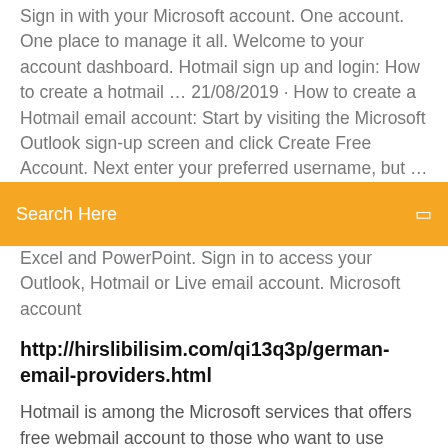Sign in with your Microsoft account. One account. One place to manage it all. Welcome to your account dashboard. Hotmail sign up and login: How to create a hotmail … 21/08/2019 · How to create a Hotmail email account: Start by visiting the Microsoft Outlook sign-up screen and click Create Free Account. Next enter your preferred username, but … Outlook –
Search Here
Excel and PowerPoint. Sign in to access your Outlook, Hotmail or Live email account. Microsoft account
http://hirslibilisim.com/qi13q3p/german-email-providers.html
Hotmail is among the Microsoft services that offers free webmail account to those who want to use email as the means of easy communication. MSN Hotmail.com Signup | MSN Mail Sign In | www.Hotmail.com The MSN Hotmail.com Signup is a very brief and simply to fill... mail address can end with either